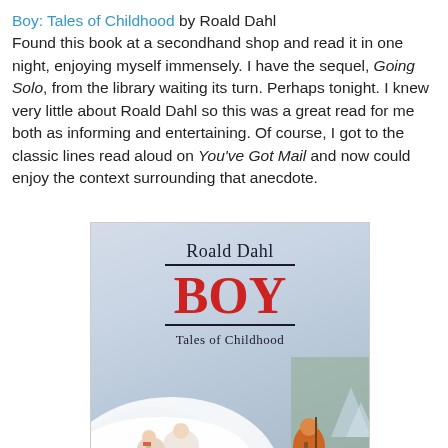Boy: Tales of Childhood by Roald Dahl
Found this book at a secondhand shop and read it in one night, enjoying myself immensely. I have the sequel, Going Solo, from the library waiting its turn. Perhaps tonight. I knew very little about Roald Dahl so this was a great read for me both as informing and entertaining. Of course, I got to the classic lines read aloud on You've Got Mail and now could enjoy the context surrounding that anecdote.
[Figure (photo): Photo of the book cover of 'Boy: Tales of Childhood' by Roald Dahl. The cover shows the author name 'Roald Dahl' at the top in dark serif font, followed by a horizontal line, then the title 'BOY' in large red letters, another line, and 'Tales of Childhood' in smaller dark serif text. The lower portion of the cover shows an illustrated winter scene with figures in snow.]